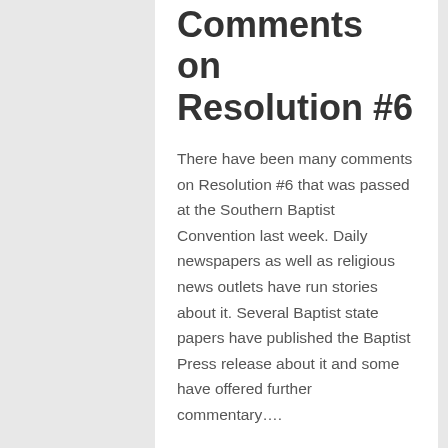Comments on Resolution #6
There have been many comments on Resolution #6 that was passed at the Southern Baptist Convention last week. Daily newspapers as well as religious news outlets have run stories about it. Several Baptist state papers have published the Baptist Press release about it and some have offered further commentary….
read more →
June 19, 2008   2464   10
WSJ on church discipline…